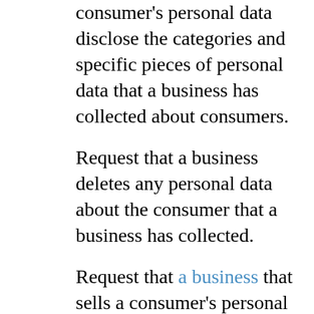consumer's personal data disclose the categories and specific pieces of personal data that a business has collected about consumers.
Request that a business deletes any personal data about the consumer that a business has collected.
Request that a business that sells a consumer's personal data, not sell the consumer's personal data.
If you make a request, we have one month to respond to you. If you would like to exercise any of these rights, please contact us.